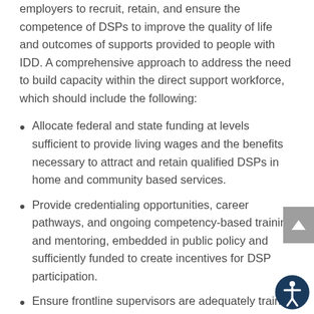employers to recruit, retain, and ensure the competence of DSPs to improve the quality of life and outcomes of supports provided to people with IDD. A comprehensive approach to address the need to build capacity within the direct support workforce, which should include the following:
Allocate federal and state funding at levels sufficient to provide living wages and the benefits necessary to attract and retain qualified DSPs in home and community based services.
Provide credentialing opportunities, career pathways, and ongoing competency-based training and mentoring, embedded in public policy and sufficiently funded to create incentives for DSP participation.
Ensure frontline supervisors are adequately trained and support to effectively recruit, retain and